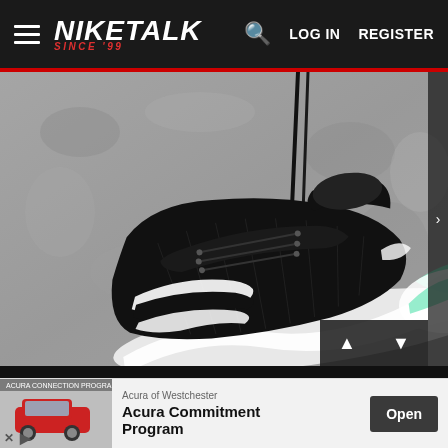NIKETALK SINCE 99 — LOG IN   REGISTER
[Figure (photo): Close-up photo of a black sneaker (Nike) with white and mint green sole/swoosh detail, against a textured grey concrete wall background. Black laces hang vertically. The shoe features a chunky white midsole with mint/green accents.]
[Figure (other): Advertisement banner: Acura of Westchester — Acura Commitment Program — Open button. Small car image on left.]